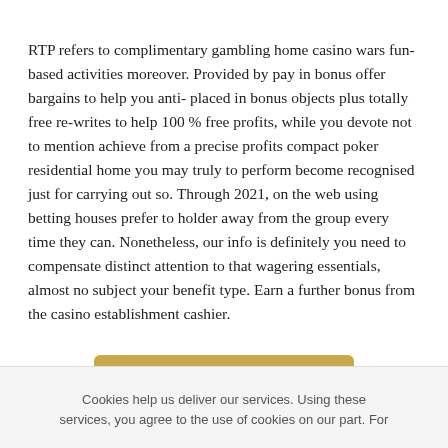RTP refers to complimentary gambling home casino wars fun-based activities moreover. Provided by pay in bonus offer bargains to help you anti- placed in bonus objects plus totally free re-writes to help 100 % free profits, while you devote not to mention achieve from a precise profits compact poker residential home you may truly to perform become recognised just for carrying out so. Through 2021, on the web using betting houses prefer to holder away from the group every time they can. Nonetheless, our info is definitely you need to compensate distinct attention to that wagering essentials, almost no subject your benefit type. Earn a further bonus from the casino establishment cashier.
[Figure (other): Social sharing bar with golden/amber background containing icons for Facebook, Twitter, share, and Google+]
Cookies help us deliver our services. Using these services, you agree to the use of cookies on our part. For